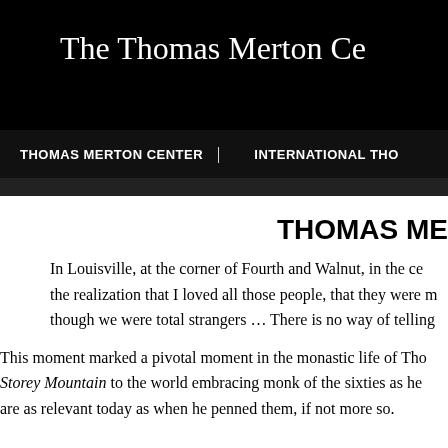The Thomas Merton Ce
THOMAS MERTON CENTER  |  INTERNATIONAL THO
THOMAS ME
In Louisville, at the corner of Fourth and Walnut, in the ce the realization that I loved all those people, that they were m though we were total strangers … There is no way of telling
This moment marked a pivotal moment in the monastic life of Tho Storey Mountain to the world embracing monk of the sixties as he are as relevant today as when he penned them, if not more so.